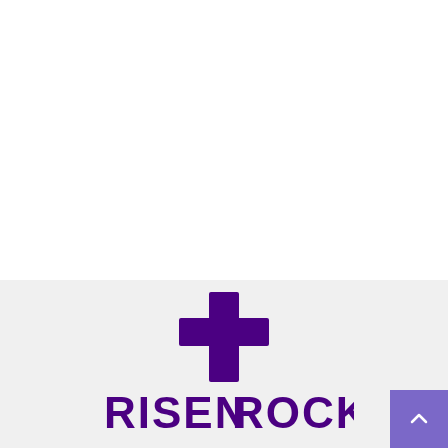[Figure (logo): Risen Rock church logo: a purple cross above the text RISEN ROCK in bold purple letters, on a light gray background]